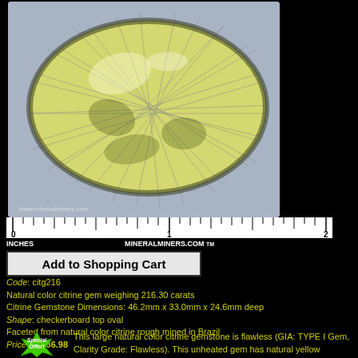[Figure (photo): Large oval faceted natural color citrine gem with checkerboard top faceting, yellow-green color, photographed on a gray background with a ruler below showing approximately 2 inches. Watermark: www.mineralminers.com]
INCHES   MINERALMINERS.COM TM
Add to Shopping Cart
Code: citg216
Natural color citrine gem weighing 216.30 carats
Citrine Gemstone Dimensions: 46.2mm x 33.0mm x 24.6mm deep
Shape: checkerboard top oval
Faceted from natural color citrine rough mined in Brazil
Price: $1286.98
[Figure (illustration): Green star-burst 'Special Offer!' badge]
This large natural color citrine gemstone is flawless (GIA: TYPE I Gem, Clarity Grade: Flawless). This unheated gem has natural yellow